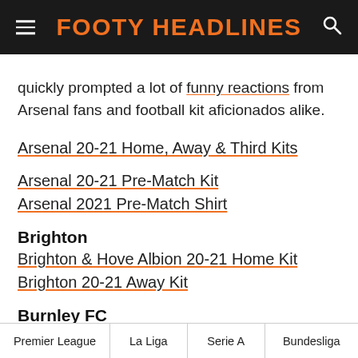FOOTY HEADLINES
quickly prompted a lot of funny reactions from Arsenal fans and football kit aficionados alike.
Arsenal 20-21 Home, Away & Third Kits
Arsenal 20-21 Pre-Match Kit
Arsenal 2021 Pre-Match Shirt
Brighton
Brighton & Hove Albion 20-21 Home Kit
Brighton 20-21 Away Kit
Burnley FC
Premier League | La Liga | Serie A | Bundesliga